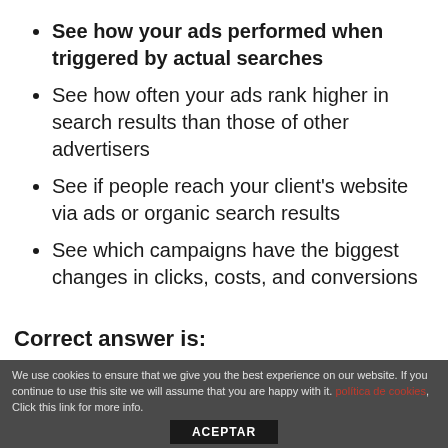See how your ads performed when triggered by actual searches
See how often your ads rank higher in search results than those of other advertisers
See if people reach your client's website via ads or organic search results
See which campaigns have the biggest changes in clicks, costs, and conversions
Correct answer is:
We use cookies to ensure that we give you the best experience on our website. If you continue to use this site we will assume that you are happy with it. política de cookies, Click this link for more info. ACEPTAR